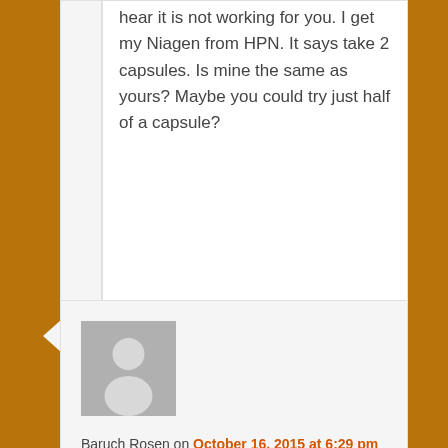hear it is not working for you. I get my Niagen from HPN. It says take 2 capsules. Is mine the same as yours? Maybe you could try just half of a capsule?
[Figure (illustration): Generic user avatar silhouette (gray background with white person outline)]
Baruch Rosen on October 16, 2015 at 6:29 pm said: